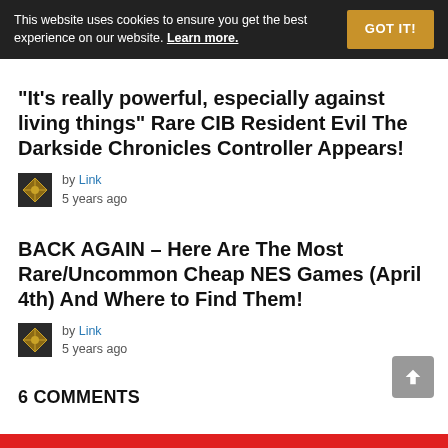This website uses cookies to ensure you get the best experience on our website. Learn more. GOT IT!
“It’s really powerful, especially against living things” Rare CIB Resident Evil The Darkside Chronicles Controller Appears!
by Link
5 years ago
BACK AGAIN – Here Are The Most Rare/Uncommon Cheap NES Games (April 4th) And Where to Find Them!
by Link
5 years ago
6 COMMENTS